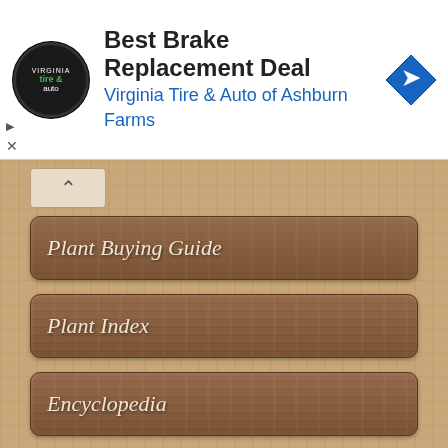[Figure (screenshot): Advertisement banner for Best Brake Replacement Deal - Virginia Tire & Auto of Ashburn Farms, with tire & auto logo on left and road sign icon on right]
Plant Buying Guide
Plant Index
Encyclopedia
Cookies!
© 1997-2022 Advameg, Inc. | Page Sitemap
The Garden Helper may not be reproduced or distributed for any purpose without our written consent.
▲ Back to top